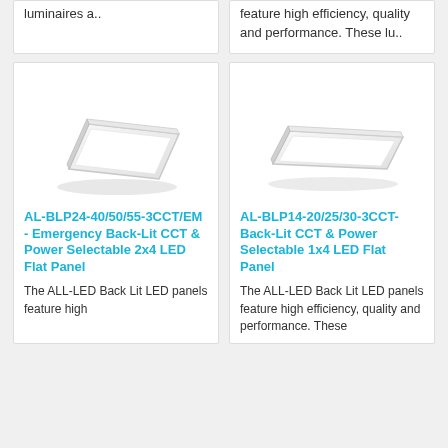luminaires a..
feature high efficiency, quality and performance. These lu..
[Figure (photo): White rectangular 2x4 LED flat panel light fixture on white background]
AL-BLP24-40/50/55-3CCT/EM - Emergency Back-Lit CCT & Power Selectable 2x4 LED Flat Panel
The ALL-LED Back Lit LED panels feature high
[Figure (photo): White rectangular 1x4 LED flat panel light fixture on white background]
AL-BLP14-20/25/30-3CCT- Back-Lit CCT & Power Selectable 1x4 LED Flat Panel
The ALL-LED Back Lit LED panels feature high efficiency, quality and performance. These